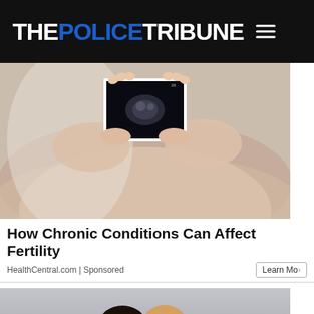THE POLICE TRIBUNE
[Figure (photo): Pregnant woman holding an ultrasound photo, viewed from above showing baby bump and hands holding the scan]
How Chronic Conditions Can Affect Fertility
HealthCentral.com | Sponsored
[Figure (photo): Couple standing together, partial view showing heads/shoulders, man with dark hair and woman with light hair]